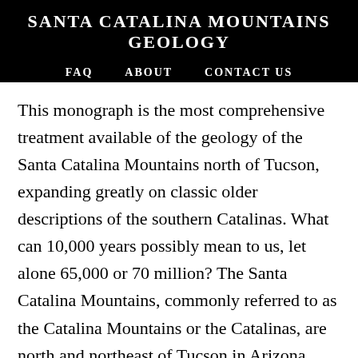SANTA CATALINA MOUNTAINS GEOLOGY
FAQ   ABOUT   CONTACT US
This monograph is the most comprehensive treatment available of the geology of the Santa Catalina Mountains north of Tucson, expanding greatly on classic older descriptions of the southern Catalinas. What can 10,000 years possibly mean to us, let alone 65,000 or 70 million? The Santa Catalina Mountains, commonly referred to as the Catalina Mountains or the Catalinas, are north and northeast of Tucson in Arizona, United States, on Tucson's north perimeter. South Central Arizona. Magnificent colored geologic map